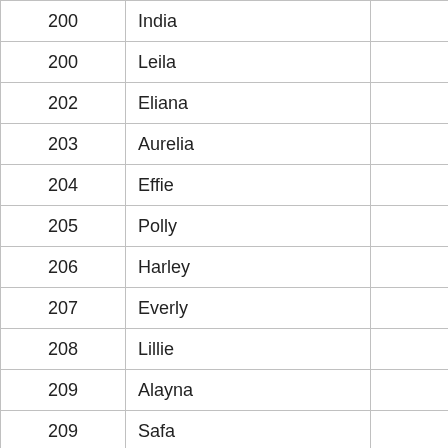| 200 | India | 247 |
| 200 | Leila | 247 |
| 202 | Eliana | 245 |
| 203 | Aurelia | 244 |
| 204 | Effie | 242 |
| 205 | Polly | 240 |
| 206 | Harley | 239 |
| 207 | Everly | 238 |
| 208 | Lillie | 237 |
| 209 | Alayna | 235 |
| 209 | Safa | 235 |
|  |  |  |